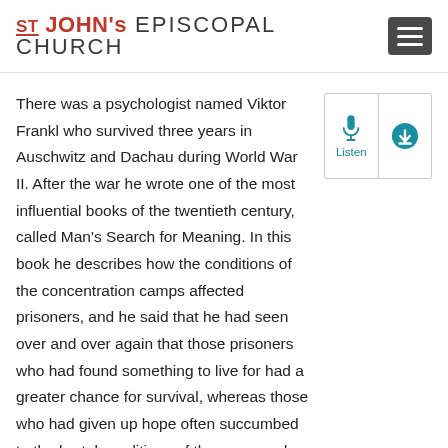ST JOHN's EPISCOPAL CHURCH
There was a psychologist named Viktor Frankl who survived three years in Auschwitz and Dachau during World War II. After the war he wrote one of the most influential books of the twentieth century, called Man's Search for Meaning. In this book he describes how the conditions of the concentration camps affected prisoners, and he said that he had seen over and over again that those prisoners who had found something to live for had a greater chance for survival, whereas those who had given up hope often succumbed to the brutal conditions of the camp and died.